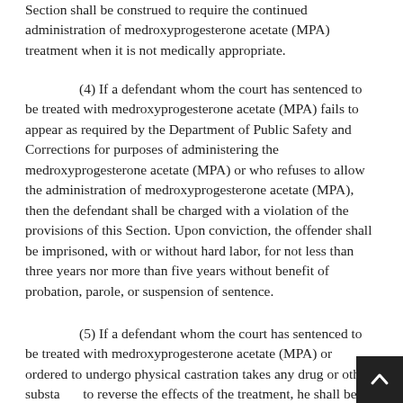Section shall be construed to require the continued administration of medroxyprogesterone acetate (MPA) treatment when it is not medically appropriate.
(4) If a defendant whom the court has sentenced to be treated with medroxyprogesterone acetate (MPA) fails to appear as required by the Department of Public Safety and Corrections for purposes of administering the medroxyprogesterone acetate (MPA) or who refuses to allow the administration of medroxyprogesterone acetate (MPA), then the defendant shall be charged with a violation of the provisions of this Section. Upon conviction, the offender shall be imprisoned, with or without hard labor, for not less than three years nor more than five years without benefit of probation, parole, or suspension of sentence.
(5) If a defendant whom the court has sentenced to be treated with medroxyprogesterone acetate (MPA) or ordered to undergo physical castration takes any drug or other substance to reverse the effects of the treatment, he shall be held in contempt of court.